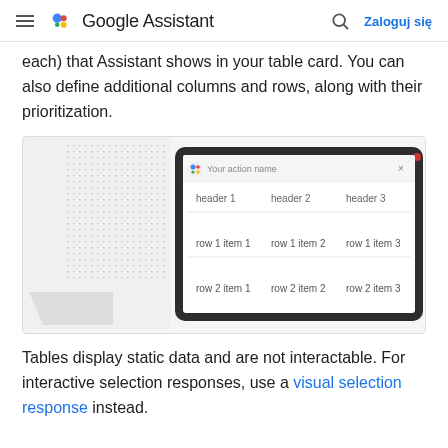Google Assistant — Zaloguj się
each) that Assistant shows in your table card. You can also define additional columns and rows, along with their prioritization.
[Figure (screenshot): Screenshot of Google Assistant table card UI showing a tablet display with headers (header 1, header 2, header 3) and two rows (row 1 item 1, row 1 item 2, row 1 item 3; row 2 item 1, row 2 item 2, row 2 item 3)]
Tables display static data and are not interactable. For interactive selection responses, use a visual selection response instead.